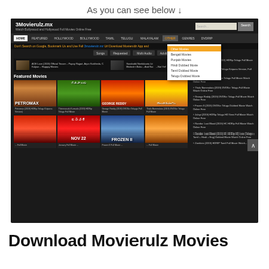As you can see below ↓
[Figure (screenshot): Screenshot of 3Movierulz.mx website showing navigation bar, featured movies grid with movie posters including Petromax, Thimmarudu, George Reddy, Tholu Bommalata, and other Telugu movies, with a dropdown menu open under 'OTHER' showing options like Other Movies, Bengali Movies, Punjabi Movies, Hindi Dubbed Movie, Tamil Dubbed Movie, Telugu Dubbed Movie]
Download Movierulz Movies